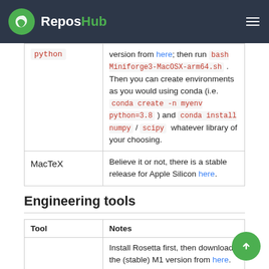ReposHub
| Tool | Notes |
| --- | --- |
| python | version from here; then run bash Miniforge3-MacOSX-arm64.sh . Then you can create environments as you would using conda (i.e. conda create -n myenv python=3.8 ) and conda install numpy / scipy whatever library of your choosing. |
| MacTeX | Believe it or not, there is a stable release for Apple Silicon here. |
Engineering tools
| Tool | Notes |
| --- | --- |
|  | Install Rosetta first, then download the (stable) M1 version from here. |